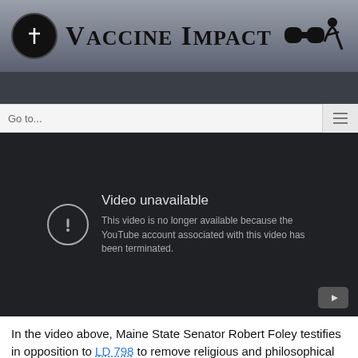Vaccine Impact
[Figure (screenshot): YouTube video embed showing 'Video unavailable' message: 'This video is no longer available because the YouTube account associated with this video has been terminated.']
In the video above, Maine State Senator Robert Foley testifies in opposition to LD 798 to remove religious and philosophical vaccine exemptions and in support of LD 987 to expand medical vaccine exemptions on the death of